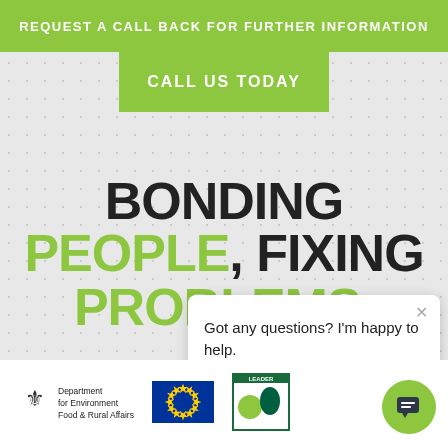REQUEST A CALL BACK FOR FURTHER INFORMATION
CALL US TODAY
BONDING PEOPLE, FIXING PROBLEMS
Got any questions? I'm happy to help.
[Figure (logo): Department for Environment Food & Rural Affairs logo with royal crest]
[Figure (logo): European Union flag with gold stars on blue background]
[Figure (logo): LEADER programme logo with green and teal design]